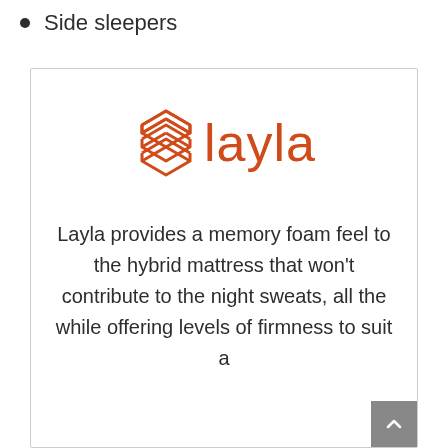Side sleepers
[Figure (logo): Layla brand logo with stacked layers icon in orange/red color followed by the word 'layla' in orange/red sans-serif font]
Layla provides a memory foam feel to the hybrid mattress that won't contribute to the night sweats, all the while offering levels of firmness to suit a